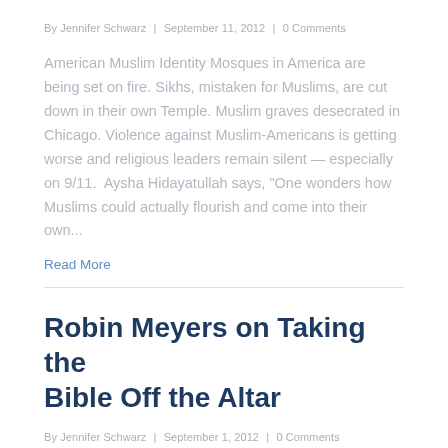By Jennifer Schwarz | September 11, 2012 | 0 Comments
American Muslim Identity Mosques in America are being set on fire. Sikhs, mistaken for Muslims, are cut down in their own Temple. Muslim graves desecrated in Chicago. Violence against Muslim-Americans is getting worse and religious leaders remain silent — especially on 9/11. Aysha Hidayatullah says, “One wonders how Muslims could actually flourish and come into their own...
Read More
Robin Meyers on Taking the Bible Off the Altar
By Jennifer Schwarz | September 1, 2012 | 0 Comments